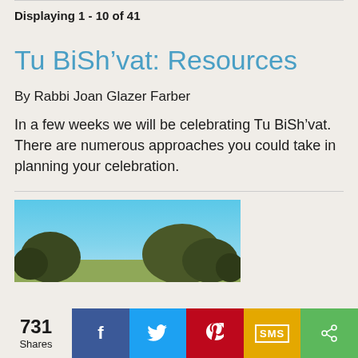Displaying 1 - 10 of 41
Tu BiSh’vat: Resources
By Rabbi Joan Glazer Farber
In a few weeks we will be celebrating Tu BiSh’vat. There are numerous approaches you could take in planning your celebration.
[Figure (photo): Outdoor photo showing blue sky and treetops]
731 Shares — social share bar with Facebook, Twitter, Pinterest, SMS, and share buttons